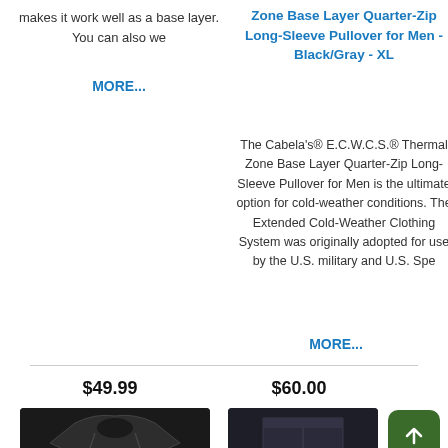makes it work well as a base layer. You can also we
MORE...
Zone Base Layer Quarter-Zip Long-Sleeve Pullover for Men - Black/Gray - XL
The Cabela's® E.C.W.C.S.® Thermal Zone Base Layer Quarter-Zip Long-Sleeve Pullover for Men is the ultimate option for cold-weather conditions. The Extended Cold-Weather Clothing System was originally adopted for use by the U.S. military and U.S. Spe
MORE...
$49.99
$60.00
[Figure (photo): Black long-sleeve thermal pullover shirt]
[Figure (photo): Dark blue/black thermal pants]